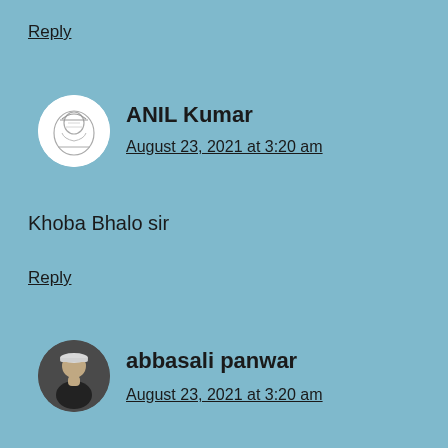Reply
[Figure (illustration): Round avatar with a sketch/line drawing illustration]
ANIL Kumar
August 23, 2021 at 3:20 am
Khoba Bhalo sir
Reply
[Figure (photo): Round avatar photo of a young man wearing a light-colored cap and dark shirt]
abbasali panwar
August 23, 2021 at 3:20 am